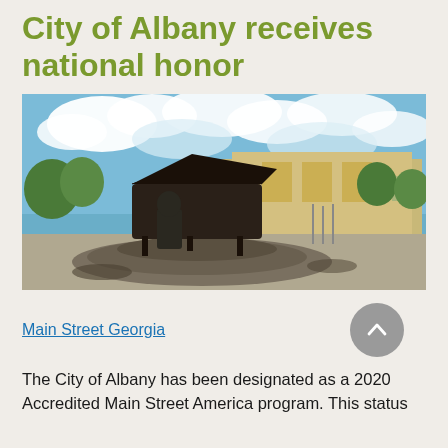City of Albany receives national honor
[Figure (photo): Bronze statue of a pianist playing a grand piano, situated on a fountain pedestal, with a large hotel building and trees visible in the background under a partly cloudy blue sky.]
Main Street Georgia
The City of Albany has been designated as a 2020 Accredited Main Street America program. This status